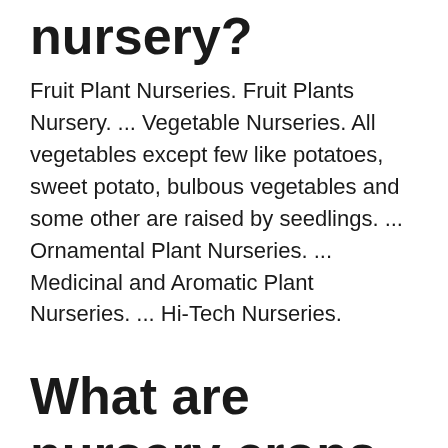nursery?
Fruit Plant Nurseries. Fruit Plants Nursery. ... Vegetable Nurseries. All vegetables except few like potatoes, sweet potato, bulbous vegetables and some other are raised by seedlings. ... Ornamental Plant Nurseries. ... Medicinal and Aromatic Plant Nurseries. ... Hi-Tech Nurseries.
What are nursery crops examples?
Examples include rose, daylily, camellia,